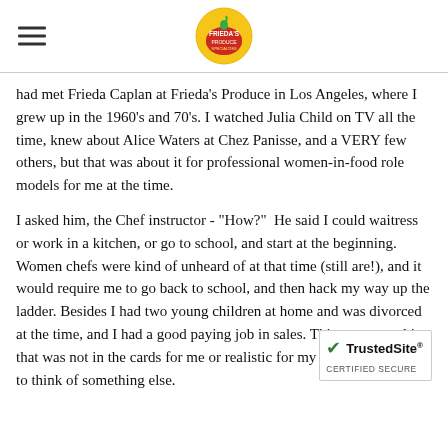[Logo: Frieda's Produce]
had met Frieda Caplan at Frieda's Produce in Los Angeles, where I grew up in the 1960's and 70's. I watched Julia Child on TV all the time, knew about Alice Waters at Chez Panisse, and a VERY few others, but that was about it for professional women-in-food role models for me at the time.
I asked him, the Chef instructor - "How?"  He said I could waitress or work in a kitchen, or go to school, and start at the beginning. Women chefs were kind of unheard of at that time (still are!), and it would require me to go back to school, and then hack my way up the ladder. Besides I had two young children at home and was divorced at the time, and I had a good paying job in sales. This was something that was not in the cards for me or realistic for my lifestyle. So I had to think of something else.